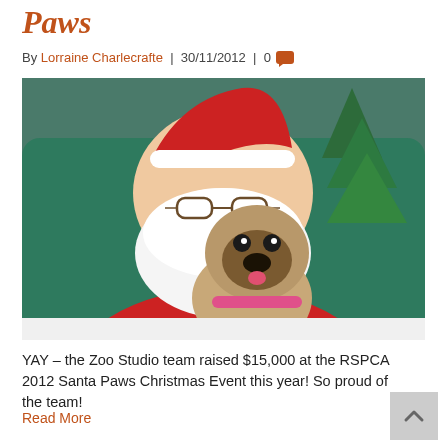Paws
By Lorraine Charlecrafte | 30/11/2012 | 0
[Figure (photo): Santa Claus in red suit sitting on a green chair, holding a pug dog wearing a pink collar, with a Christmas tree visible in background.]
YAY – the Zoo Studio team raised $15,000 at the RSPCA 2012 Santa Paws Christmas Event this year! So proud of the team!
Read More